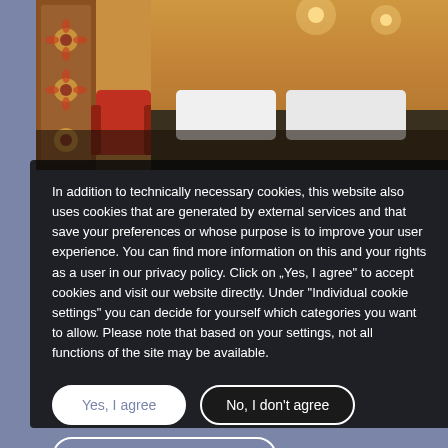[Figure (photo): Hotel room interior photo showing a bed with white pillows, wooden wall/ceiling with warm lighting, and a red accent chair. Decorative tile pattern visible on left side.]
In addition to technically necessary cookies, this website also uses cookies that are generated by external services and that save your preferences or whose purpose is to improve your user experience. You can find more information on this and your rights as a user in our privacy policy. Click on „Yes, I agree" to accept cookies and visit our website directly. Under "Individual cookie settings" you can decide for yourself which categories you want to allow. Please note that based on your settings, not all functions of the site may be available.
Yes, I agree
No, I don't agree
Individual Cookie Settings